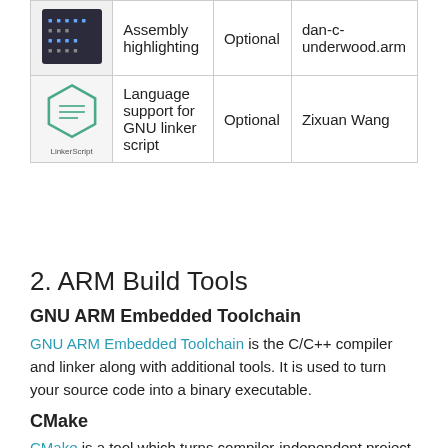| Icon | Description | Requirement | Author |
| --- | --- | --- | --- |
| [code icon] | Assembly highlighting | Optional | dan-c-underwood.arm |
| [linkerscript icon] | Language support for GNU linker script | Optional | Zixuan Wang |
2. ARM Build Tools
GNU ARM Embedded Toolchain
GNU ARM Embedded Toolchain is the C/C++ compiler and linker along with additional tools. It is used to turn your source code into a binary executable.
CMake
CMake is a tool which turns compiler-independent project